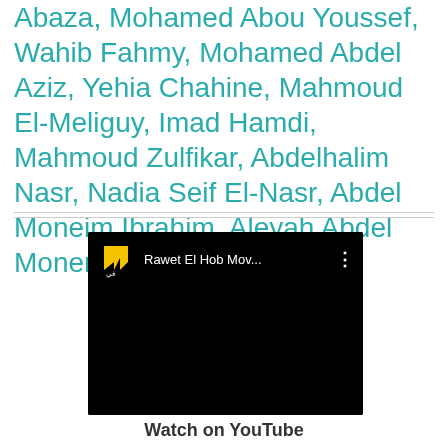Abaza, Mohamed Abou Youssef, Wahib Fahmy, Mohamed Abdel Aziz, Yehia Chahine, Mahmoud El-Meliguy, Imad Hamdi, Mahmoud Zulfikar, Abdelhalim Nasr, Nadia Seif El-Nasr, Abdel Moneim Ibrahim, Aleyah Abdel Monem
[Figure (screenshot): YouTube video thumbnail showing 'Rawet El Hob Mov...' with a black background and a yellow channel logo on the left]
Watch on YouTube